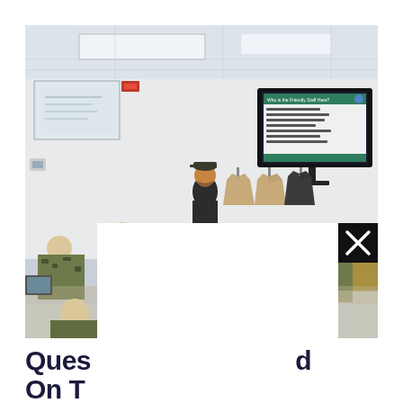[Figure (photo): A classroom or briefing room scene with military personnel seated at desks in camouflage uniforms, viewed from behind. An instructor in a black shirt and cap stands at the front. A large wall-mounted TV/monitor displays a presentation slide with text. Uniforms hang on the wall in the background. A white overlay box with a black close (X) button partially covers the lower-center portion of the image.]
Ques                                        d
On T
Octobe